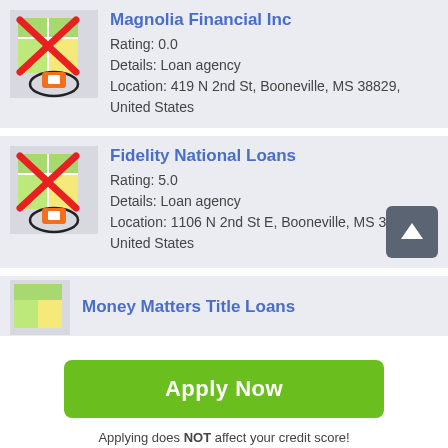[Figure (screenshot): Map pin icon with red X overlay for Magnolia Financial Inc]
Magnolia Financial Inc
Rating: 0.0
Details: Loan agency
Location: 419 N 2nd St, Booneville, MS 38829, United States
[Figure (screenshot): Map pin icon with red X overlay for Fidelity National Loans]
Fidelity National Loans
Rating: 5.0
Details: Loan agency
Location: 1106 N 2nd St E, Booneville, MS 38829, United States
[Figure (screenshot): Partial map pin icon for Money Matters Title Loans]
Money Matters Title Loans
Apply Now
Applying does NOT affect your credit score!
No credit check to apply.